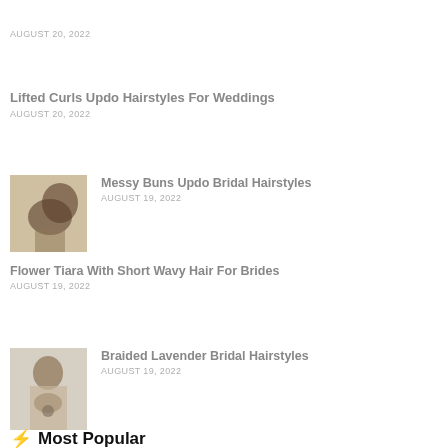AUGUST 20, 2022
Lifted Curls Updo Hairstyles For Weddings
AUGUST 20, 2022
[Figure (photo): Woman with messy bun updo bridal hairstyle, side profile view]
Messy Buns Updo Bridal Hairstyles
AUGUST 19, 2022
Flower Tiara With Short Wavy Hair For Brides
AUGUST 19, 2022
[Figure (photo): Woman with braided lavender bridal hairstyle, back view]
Braided Lavender Bridal Hairstyles
AUGUST 19, 2022
Most Popular